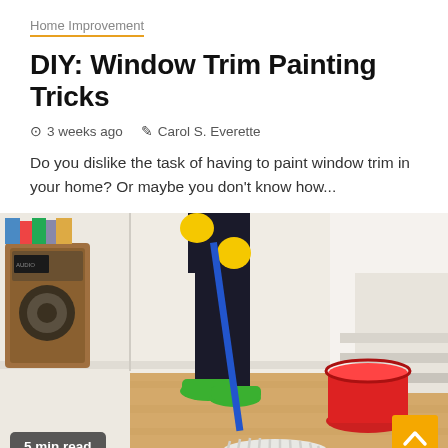Home Improvement
DIY: Window Trim Painting Tricks
3 weeks ago   Carol S. Everette
Do you dislike the task of having to paint window trim in your home? Or maybe you don't know how...
[Figure (photo): Person mopping a wooden floor wearing yellow gloves and green shoes, with a red bucket nearby and a speaker in the background.]
5 min read